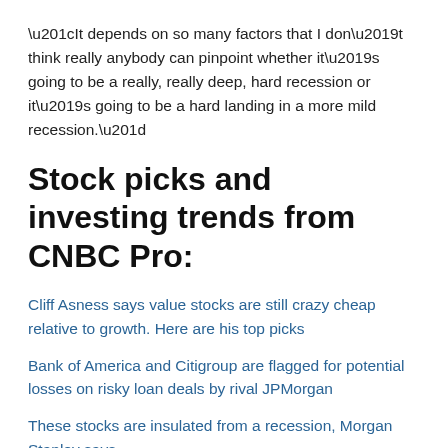“It depends on so many factors that I don’t think really anybody can pinpoint whether it’s going to be a really, really deep, hard recession or it’s going to be a hard landing in a more mild recession.”
Stock picks and investing trends from CNBC Pro:
Cliff Asness says value stocks are still crazy cheap relative to growth. Here are his top picks
Bank of America and Citigroup are flagged for potential losses on risky loan deals by rival JPMorgan
These stocks are insulated from a recession, Morgan Stanley says
Morgan Stanley’s Jonas cuts Tesla price target, warns